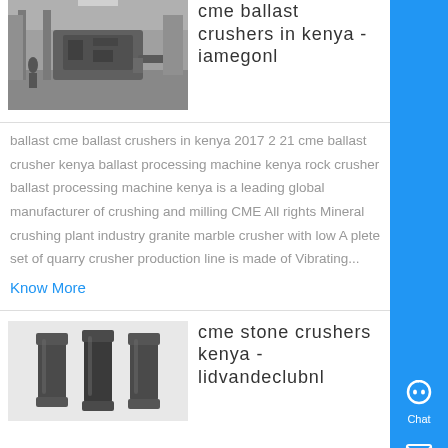[Figure (photo): Thumbnail photo of a factory/crushing plant machinery interior]
cme ballast crushers in kenya - iamegonl
ballast cme ballast crushers in kenya 2017 2 21 cme ballast crusher kenya ballast processing machine kenya rock crusher ballast processing machine kenya is a leading global manufacturer of crushing and milling CME All rights Mineral crushing plant industry granite marble crusher with low A plete set of quarry crusher production line is made of Vibrating...
Know More
[Figure (photo): Thumbnail photo of stone crusher bolts/cylindrical metal parts]
cme stone crushers kenya - lidvandeclubnl